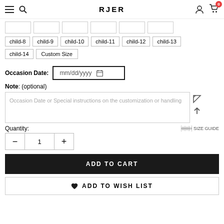RJER
child-8 child-9 child-10 child-11 child-12 child-13
child-14 Custom Size
Occasion Date: mm/dd/yyyy
Note: (optional)
Occasion Date or Special instructions on the customization or handling
Quantity:
SIZE GUIDE
1
ADD TO CART
ADD TO WISH LIST